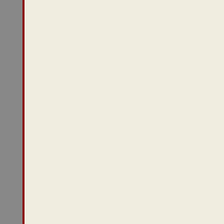» Law (946)
» Letters (11)
» Literary/Artistic Criticism (1,457)
» Live Events (658)
» Louisiana (244)
» Media Archive (12,219)
» Mexico (234)
» Mississippi (80)
» Monographs (1,427)
» My Articles/Point of View/Activities (52)
» Native Americans/First Nation (669)
» New Media (451)
» Novels (241)
» Oceania (212)
» Papers/Presentations (233)